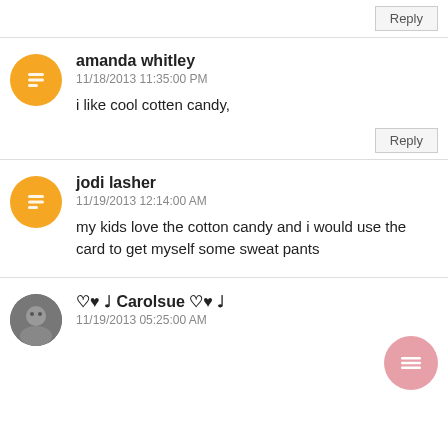Reply
amanda whitley
11/18/2013 11:35:00 PM
i like cool cotten candy,
Reply
jodi lasher
11/19/2013 12:14:00 AM
my kids love the cotton candy and i would use the card to get myself some sweat pants
♡♥♩ Carolsue ♡♥♩
11/19/2013 05:25:00 AM